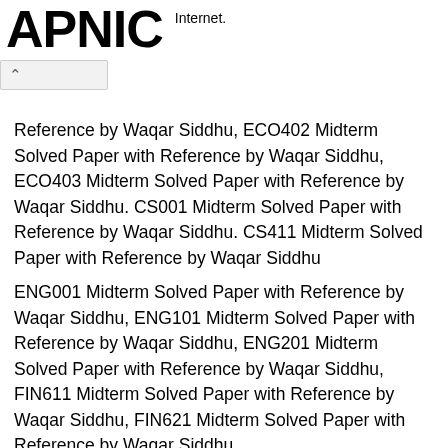APNIC   Internet.
Reference by Waqar Siddhu, ECO402 Midterm Solved Paper with Reference by Waqar Siddhu, ECO403 Midterm Solved Paper with Reference by Waqar Siddhu. CS001 Midterm Solved Paper with Reference by Waqar Siddhu. CS411 Midterm Solved Paper with Reference by Waqar Siddhu
ENG001 Midterm Solved Paper with Reference by Waqar Siddhu, ENG101 Midterm Solved Paper with Reference by Waqar Siddhu, ENG201 Midterm Solved Paper with Reference by Waqar Siddhu, FIN611 Midterm Solved Paper with Reference by Waqar Siddhu, FIN621 Midterm Solved Paper with Reference by Waqar Siddhu,